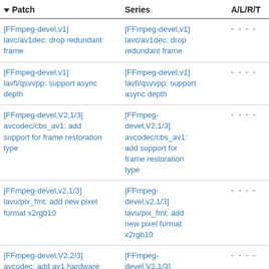| Patch | Series | A/L/R/T | S/W |
| --- | --- | --- | --- |
| [FFmpeg-devel,v1] lavc/av1dec: drop redundant frame | [FFmpeg-devel,v1] lavc/av1dec: drop redundant frame | - - - - | 4 |
| [FFmpeg-devel,v1] lavfi/qsvvpp: support async depth | [FFmpeg-devel,v1] lavfi/qsvvpp: support async depth | - - - - | 4 |
| [FFmpeg-devel,V2,1/3] avcodec/cbs_av1: add support for frame restoration type | [FFmpeg-devel,V2,1/3] avcodec/cbs_av1: add support for frame restoration type | - - - - | 2 |
| [FFmpeg-devel,v2,1/3] lavu/pix_fmt: add new pixel format x2rgb10 | [FFmpeg-devel,v2,1/3] lavu/pix_fmt: add new pixel format x2rgb10 | - - - - | 2 |
| [FFmpeg-devel,V2,2/3] avcodec: add av1 hardware | [FFmpeg-devel,V2,1/3] avcodec/cbs_av1: | - - - - | 2 |